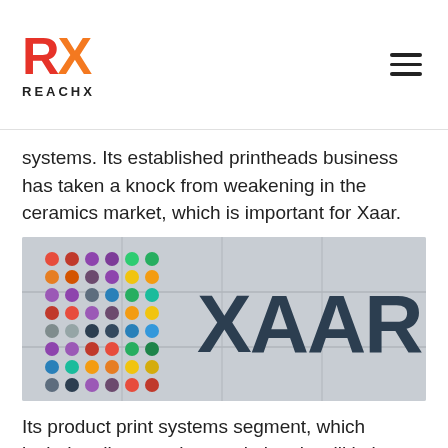RX REACHX
systems. Its established printheads business has taken a knock from weakening in the ceramics market, which is important for Xaar.
[Figure (photo): Photograph of a building exterior showing the XAAR logo sign with colorful circular dot pattern on the left side]
Its product print systems segment, which includes direct to shape printing, is still in its